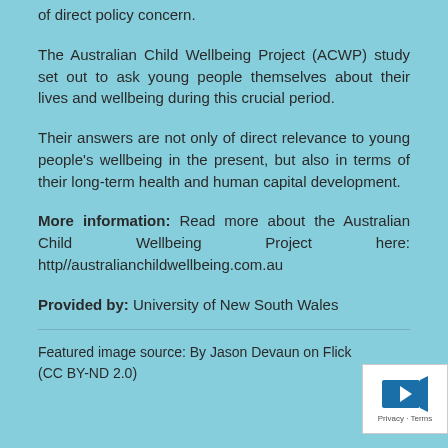of direct policy concern.
The Australian Child Wellbeing Project (ACWP) study set out to ask young people themselves about their lives and wellbeing during this crucial period.
Their answers are not only of direct relevance to young people's wellbeing in the present, but also in terms of their long-term health and human capital development.
More information: Read more about the Australian Child Wellbeing Project here: http//australianchildwellbeing.com.au
Provided by: University of New South Wales
Featured image source: By Jason Devaun on Flick (CC BY-ND 2.0)